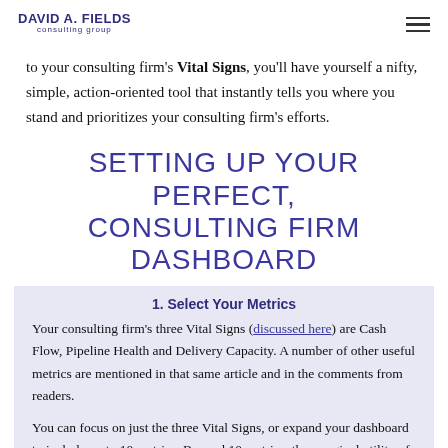DAVID A. FIELDS consulting group
to your consulting firm's Vital Signs, you'll have yourself a nifty, simple, action-oriented tool that instantly tells you where you stand and prioritizes your consulting firm's efforts.
SETTING UP YOUR PERFECT, CONSULTING FIRM DASHBOARD
1. Select Your Metrics
Your consulting firm's three Vital Signs (discussed here) are Cash Flow, Pipeline Health and Delivery Capacity. A number of other useful metrics are mentioned in that same article and in the comments from readers.
You can focus on just the three Vital Signs, or expand your dashboard to include up to 10 metrics. Beyond 10 metrics, the marginal utility of your information typically